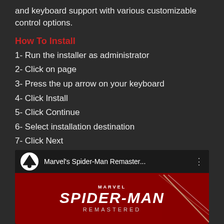and keyboard support with various customizable control options.
How To Install
1- Run the installer as administrator
2- Click on page
3- Press the up arrow on your keyboard
4- Click Install
5- Click Continue
6- Select installation destination
7- Click Next
8- Select component
9- Install
[Figure (screenshot): YouTube video thumbnail for Marvel's Spider-Man Remastered showing the game title on a red background with a diagonal light streak.]